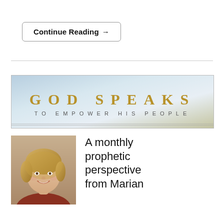Continue Reading →
[Figure (illustration): God Speaks To Empower His People banner with light blue and beige gradient background]
[Figure (photo): Portrait photo of a smiling woman with blonde hair]
A monthly prophetic perspective from Marian